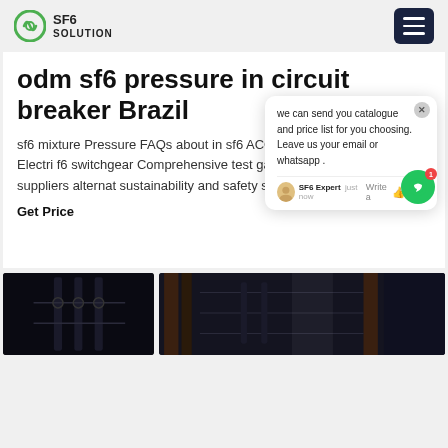SF6 SOLUTION
odm sf6 pressure in circuit breaker Brazil
sf6 mixture Pressure FAQs about in sf6 ACCESSORIES certification Electric f6 switchgear Comprehensive test gas ct sf6 circuit breaker suppliers alternat sustainability and safety sf6 n2 gas working
Get Price
[Figure (screenshot): Chat popup overlay with message: we can send you catalogue and price list for you choosing. Leave us your email or whatsapp. SF6 Expert just now. Write a [like] [attach]]
[Figure (photo): Two dark industrial photos showing electrical equipment / circuit breakers]